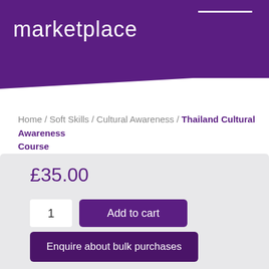marketplace
Home / Soft Skills / Cultural Awareness / Thailand Cultural Awareness Course
[Figure (photo): A golden spire/pagoda against a blue sky with clouds, and a Thai flag visible on the right side]
£35.00
1
Add to cart
Enquire about bulk purchases